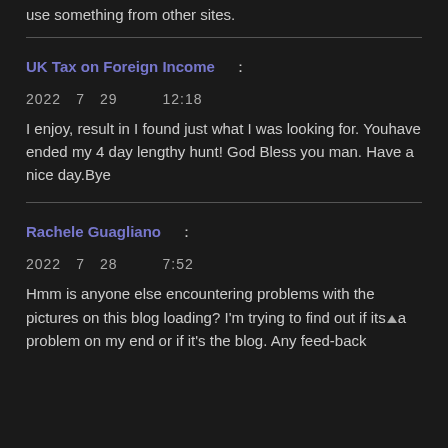use something from other sites.
UK Tax on Foreign Income   :
2022  7  29       12:18
I enjoy, result in I found just what I was looking for. Youhave ended my 4 day lengthy hunt! God Bless you man. Have a nice day.Bye
Rachele Guagliano   :
2022  7  28       7:52
Hmm is anyone else encountering problems with the pictures on this blog loading? I'm trying to find out if its a problem on my end or if it's the blog. Any feed-back would be...